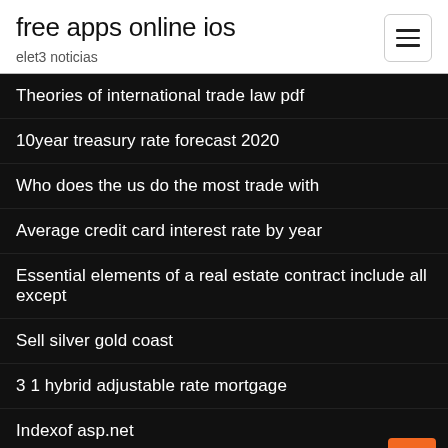free apps online ios
elet3 noticias
Theories of international trade law pdf
10year treasury rate forecast 2020
Who does the us do the most trade with
Average credit card interest rate by year
Essential elements of a real estate contract include all except
Sell silver gold coast
3 1 hybrid adjustable rate mortgage
Indexof asp.net
Elet3 noticias
Usd inr trend